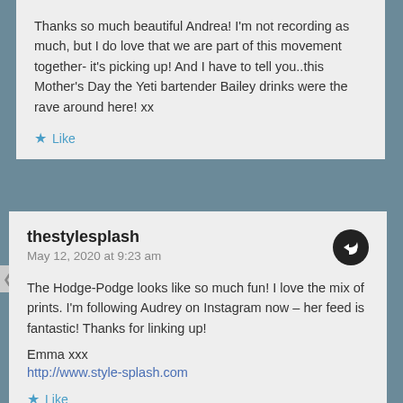Thanks so much beautiful Andrea! I'm not recording as much, but I do love that we are part of this movement together- it's picking up! And I have to tell you..this Mother's Day the Yeti bartender Bailey drinks were the rave around here! xx
Like
thestylesplash
May 12, 2020 at 9:23 am
The Hodge-Podge looks like so much fun! I love the mix of prints. I'm following Audrey on Instagram now – her feed is fantastic! Thanks for linking up!

Emma xxx
http://www.style-splash.com
Like